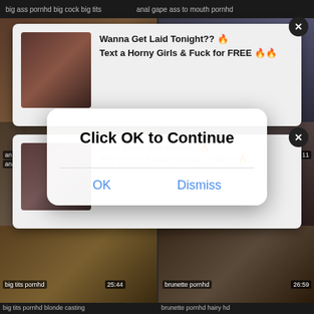big ass pornhd big cock big tits    anal gape ass to mouth pornhd
[Figure (screenshot): Video thumbnail grid from adult content website with popup ads and an OK/Dismiss dialog overlay. Thumbnails include labels: big tits pornhd 25:44, big tits pornhd blonde casting, brunette pornhd 26:59, brunette pornhd hairy hd]
Wanna Get Laid Tonight?? 🔥
Text a Horny Girls & Fuck for FREE 🔥🔥
Horny Babes Near Ashburn? 🔥
Why the FUCK would you pay for SEX? 🔥
Click OK to Continue
OK
Dismiss